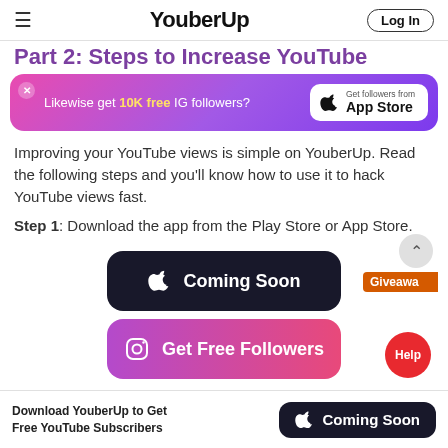YouberUp | Log In
Part 2: Steps to Increase YouTube
[Figure (infographic): Promotional banner: 'Likewise get 10K free IG followers?' with App Store button]
Improving your YouTube views is simple on YouberUp. Read the following steps and you'll know how to use it to hack YouTube views fast.
Step 1: Download the app from the Play Store or App Store.
[Figure (other): Black rounded button with Apple icon and text 'Coming Soon']
[Figure (other): Gradient (purple to pink) rounded button with Instagram icon and text 'Get Free Followers']
Download YouberUp to Get Free YouTube Subscribers | Coming Soon (Apple)